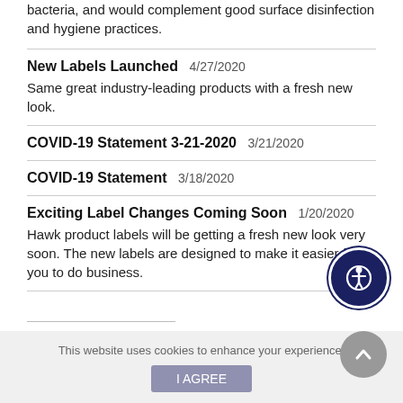bacteria, and would complement good surface disinfection and hygiene practices.
New Labels Launched  4/27/2020
Same great industry-leading products with a fresh new look.
COVID-19 Statement 3-21-2020  3/21/2020
COVID-19 Statement  3/18/2020
Exciting Label Changes Coming Soon  1/20/2020
Hawk product labels will be getting a fresh new look very soon. The new labels are designed to make it easier for you to do business.
(truncated next entry heading)
This website uses cookies to enhance your experience.